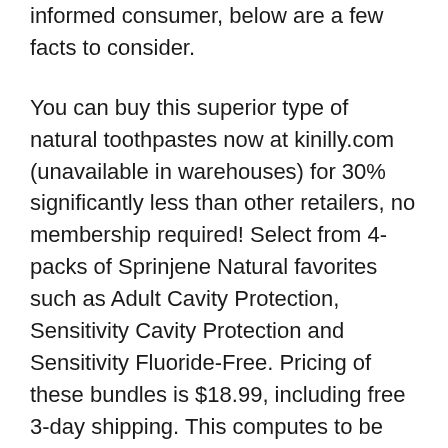informed consumer, below are a few facts to consider.
You can buy this superior type of natural toothpastes now at kinilly.com (unavailable in warehouses) for 30% significantly less than other retailers, no membership required! Select from 4-packs of Sprinjene Natural favorites such as Adult Cavity Protection, Sensitivity Cavity Protection and Sensitivity Fluoride-Free. Pricing of these bundles is $18.99, including free 3-day shipping. This computes to be about $4.75 per tube rather than $5.99 to $6.99 like at other retailers.
Also being introduced to kinilly.com, is Sprinjene's Boost line of toothpastes, with extra